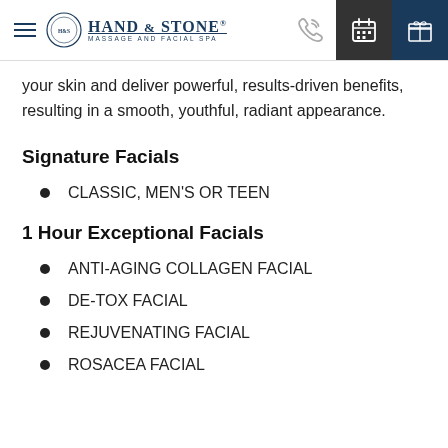Hand & Stone Massage and Facial Spa — navigation header
your skin and deliver powerful, results-driven benefits, resulting in a smooth, youthful, radiant appearance.
Signature Facials
CLASSIC, MEN'S OR TEEN
1 Hour Exceptional Facials
ANTI-AGING COLLAGEN FACIAL
DE-TOX FACIAL
REJUVENATING FACIAL
ROSACEA FACIAL